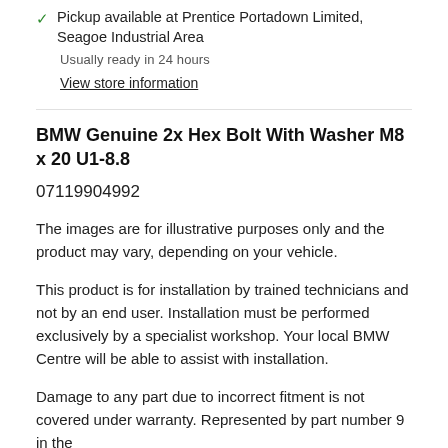Pickup available at Prentice Portadown Limited, Seagoe Industrial Area
Usually ready in 24 hours
View store information
BMW Genuine 2x Hex Bolt With Washer M8 x 20 U1-8.8
07119904992
The images are for illustrative purposes only and the product may vary, depending on your vehicle.
This product is for installation by trained technicians and not by an end user. Installation must be performed exclusively by a specialist workshop. Your local BMW Centre will be able to assist with installation.
Damage to any part due to incorrect fitment is not covered under warranty. Represented by part number 9 in the